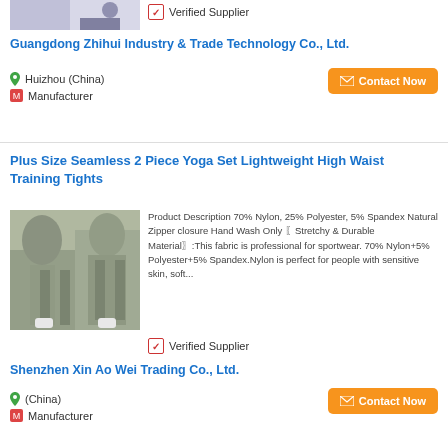[Figure (photo): Partial product photo of yoga/activewear at top of page]
Verified Supplier
Guangdong Zhihui Industry & Trade Technology Co., Ltd.
Huizhou (China)
Manufacturer
Contact Now
Plus Size Seamless 2 Piece Yoga Set Lightweight High Waist Training Tights
[Figure (photo): Woman wearing green/sage 2-piece yoga set with zip-up crop top and high waist leggings]
Product Description 70% Nylon, 25% Polyester, 5% Spandex Natural Zipper closure Hand Wash Only 〖Stretchy & Durable Material〗:This fabric is professional for sportwear. 70% Nylon+5% Polyester+5% Spandex.Nylon is perfect for people with sensitive skin, soft...
Verified Supplier
Shenzhen Xin Ao Wei Trading Co., Ltd.
(China)
Manufacturer
Contact Now